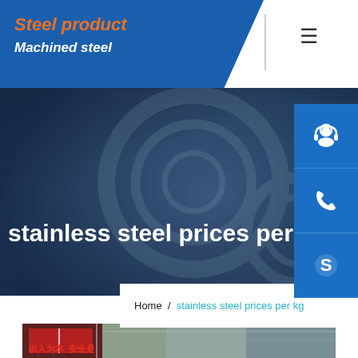[Figure (screenshot): Website header with blue background, 'Steel product' in orange italic bold and 'Machined steel' in white italic bold, hamburger menu icon on the right]
[Figure (screenshot): Three blue square sidebar buttons: headset/customer service icon, phone icon, and Skype icon]
stainless steel prices per k
Home / stainless steel prices per kg
[Figure (photo): Bottom portion of a Chinese steel market building exterior with red Chinese characters on wall]